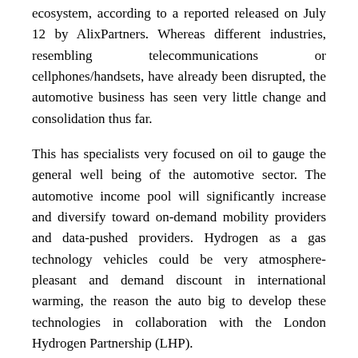ecosystem, according to a reported released on July 12 by AlixPartners. Whereas different industries, resembling telecommunications or cellphones/handsets, have already been disrupted, the automotive business has seen very little change and consolidation thus far.
This has specialists very focused on oil to gauge the general well being of the automotive sector. The automotive income pool will significantly increase and diversify toward on-demand mobility providers and data-pushed providers. Hydrogen as a gas technology vehicles could be very atmosphere-pleasant and demand discount in international warming, the reason the auto big to develop these technologies in collaboration with the London Hydrogen Partnership (LHP).
Ferrari F12 Berlinetta Soon Being Examined Streets